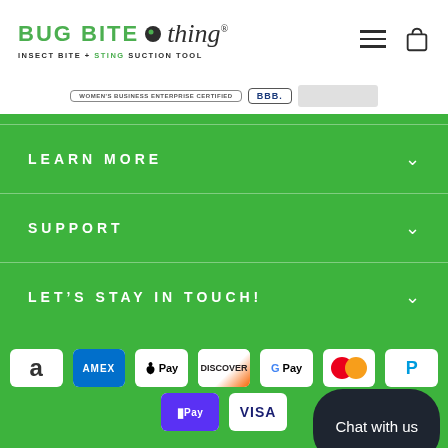[Figure (logo): Bug Bite Thing logo with insect bite + sting suction tool tagline]
[Figure (other): Women's business enterprise and BBB accreditation badges]
LEARN MORE
SUPPORT
LET'S STAY IN TOUCH!
[Figure (other): Payment method icons: Amazon, Amex, Apple Pay, Discover, Google Pay, Mastercard, PayPal, Shop Pay, Visa]
Chat with us
© 2022 Bug Bite Thing